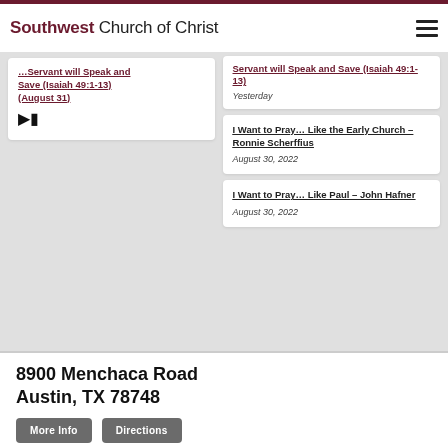Southwest Church of Christ
Servant will Speak and Save (Isaiah 49:1-13) (August 31) [video icon]
Servant will Speak and Save (Isaiah 49:1-13)
Yesterday
I Want to Pray… Like the Early Church – Ronnie Scherffius
August 30, 2022
I Want to Pray… Like Paul – John Hafner
August 30, 2022
8900 Menchaca Road Austin, TX 78748
More Info  Directions
Sunday Bible Class @ 9:00am